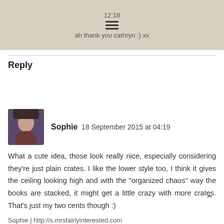[Figure (screenshot): Top bar with beige/tan background showing time 12:18, hamburger menu icon, and text 'ah thank you cathryn :) xx']
Reply
Sophie  18 September 2015 at 04:19
What a cute idea, those look really nice, especially considering they're just plain crates. I like the lower style too, I think it gives the ceiling looking high and with the "organized chaos" way the books are stacked, it might get a little crazy with more crates. That's just my two cents though :)
Sophie | http://s.mrsfairlyinterested.com